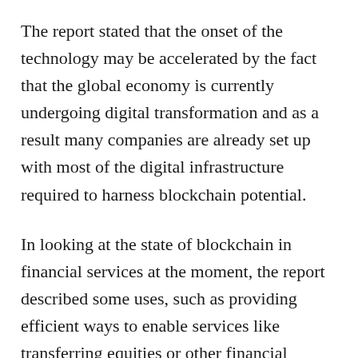The report stated that the onset of the technology may be accelerated by the fact that the global economy is currently undergoing digital transformation and as a result many companies are already set up with most of the digital infrastructure required to harness blockchain potential.
In looking at the state of blockchain in financial services at the moment, the report described some uses, such as providing efficient ways to enable services like transferring equities or other financial instruments in blockchain environments with faster settlement and lower transaction costs.
However, in the future it was imagined that markets would be self-running run, with finance embedded into the activities